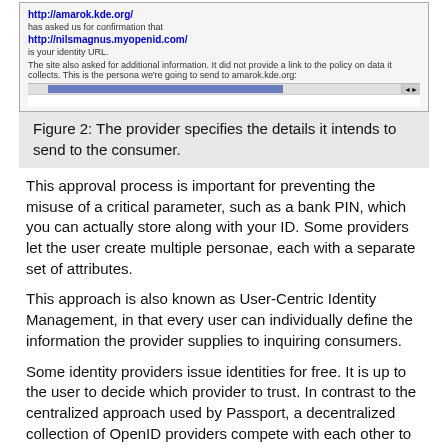[Figure (screenshot): Screenshot of an OpenID confirmation dialog showing http://amarok.kde.org/ has asked for confirmation that http://nilsmagnus.myopenid.com/ is the identity URL, with additional text about persona data being sent.]
Figure 2: The provider specifies the details it intends to send to the consumer.
This approval process is important for preventing the misuse of a critical parameter, such as a bank PIN, which you can actually store along with your ID. Some providers let the user create multiple personae, each with a separate set of attributes.
This approach is also known as User-Centric Identity Management, in that every user can individually define the information the provider supplies to inquiring consumers.
Some identity providers issue identities for free. It is up to the user to decide which provider to trust. In contrast to the centralized approach used by Passport, a decentralized collection of OpenID providers compete with each other to offer services. Users are even free to set up their own provider.
If you are interested in developing your own solution, open